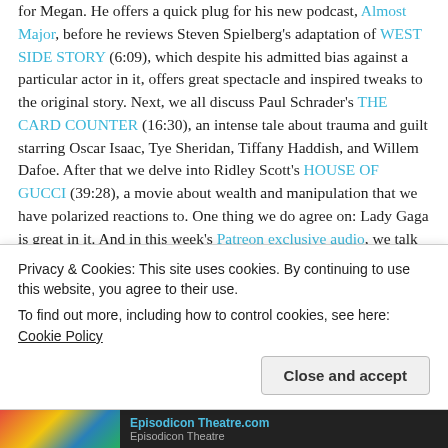for Megan. He offers a quick plug for his new podcast, Almost Major, before he reviews Steven Spielberg's adaptation of WEST SIDE STORY (6:09), which despite his admitted bias against a particular actor in it, offers great spectacle and inspired tweaks to the original story. Next, we all discuss Paul Schrader's THE CARD COUNTER (16:30), an intense tale about trauma and guilt starring Oscar Isaac, Tye Sheridan, Tiffany Haddish, and Willem Dafoe. After that we delve into Ridley Scott's HOUSE OF GUCCI (39:28), a movie about wealth and manipulation that we have polarized reactions to. One thing we do agree on: Lady Gaga is great in it. And in this week's Patreon exclusive audio, we talk about a Patron's request, Ted Demme's 1994 dark Christmas comedy, THE REF, starring Denis Leary.
Privacy & Cookies: This site uses cookies. By continuing to use this website, you agree to their use. To find out more, including how to control cookies, see here: Cookie Policy